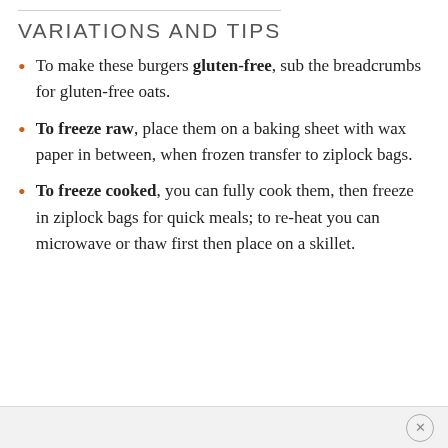VARIATIONS AND TIPS
To make these burgers gluten-free, sub the breadcrumbs for gluten-free oats.
To freeze raw, place them on a baking sheet with wax paper in between, when frozen transfer to ziplock bags.
To freeze cooked, you can fully cook them, then freeze in ziplock bags for quick meals; to re-heat you can microwave or thaw first then place on a skillet.